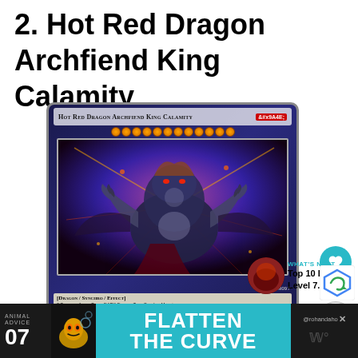2. Hot Red Dragon Archfiend King Calamity
[Figure (photo): Yu-Gi-Oh! trading card: Hot Red Dragon Archfiend King Calamity. A dark dragon/archfiend synchro monster card with 12 stars, artwork showing a powerful dark armored dragon creature. Card code SHVI-EN097. Type: Dragon/Synchro/Effect.]
WHAT'S NEXT → Top 10 Best Level 7...
ANIMAL ADVICE 07 FLATTEN THE CURVE @rohandaho×